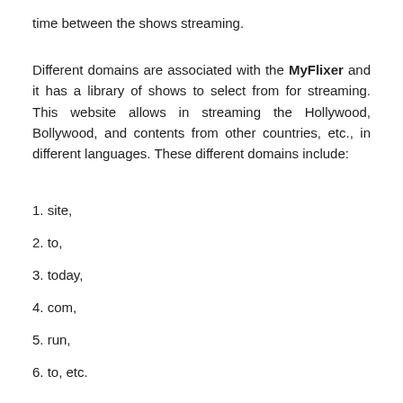time between the shows streaming.
Different domains are associated with the MyFlixer and it has a library of shows to select from for streaming. This website allows in streaming the Hollywood, Bollywood, and contents from other countries, etc., in different languages. These different domains include:
1. site,
2. to,
3. today,
4. com,
5. run,
6. to, etc.